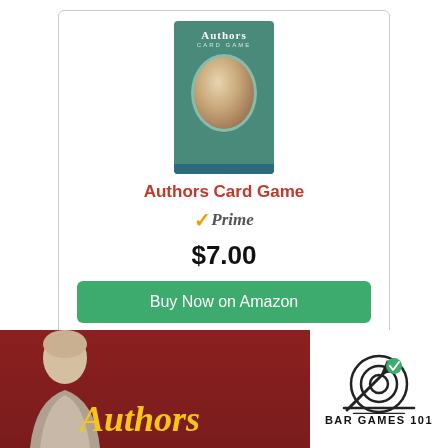[Figure (photo): Authors Card Game product box cover showing a man portrait on a green teal background]
Authors Card Game
Prime (Amazon Prime badge with checkmark)
$7.00
Buy Now on Amazon
Affiliate link / commissions earned (read disclosure)
Rules and Gameplay
[Figure (photo): Photo of Authors card game box showing a person and yellow Authors text on dark red background, with Bar Games 101 logo overlay]